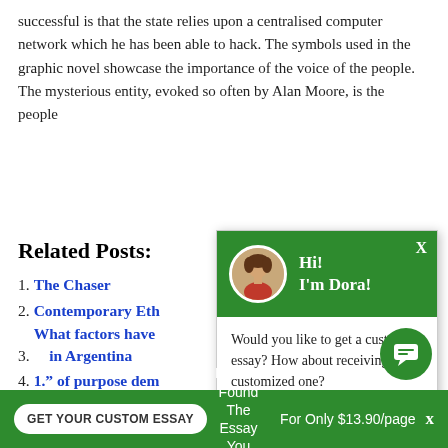successful is that the state relies upon a centralised computer network which he has been able to hack. The symbols used in the graphic novel showcase the importance of the voice of the people. The mysterious entity, evoked so often by Alan Moore, is the people
Related Posts:
1. The Chaser
2. Contemporary Eth
3. What factors have ... in Argentina
4. 1.” of purpose dem
5. You know that you
6. The Glass Ceiling
7. Gay Marriage
8. War Poetry
[Figure (screenshot): Chat popup with avatar of Dora, green header saying Hi! I'm Dora!, and body text: Would you like to get a custom essay? How about receiving a customized one? Click here]
Would you like to get a custom essay? How about receiving a customized one?
Click here
Haven't Found The Essay You Want?
GET YOUR CUSTOM ESSAY
For Only $13.90/page